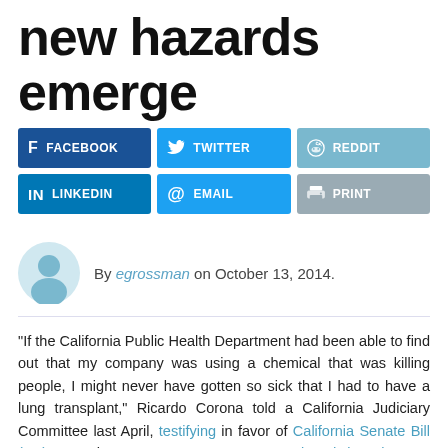new hazards emerge
[Figure (infographic): Social sharing buttons in two rows: Facebook (dark blue), Twitter (light blue), Reddit (light blue-grey); LinkedIn (dark blue), Email (light blue), Print (grey)]
By egrossman on October 13, 2014.
"If the California Public Health Department had been able to find out that my company was using a chemical that was killing people, I might never have gotten so sick that I had to have a lung transplant," Ricardo Corona told a California Judiciary Committee last April, testifying in favor of California Senate Bill (SB) 193 that Governor Jerry Brown signed into law on September 29th. The law, which amends California's Hazard Evaluation System and Information Service (HESIS), will become the first in the country to require companies that manufacture and distribute…